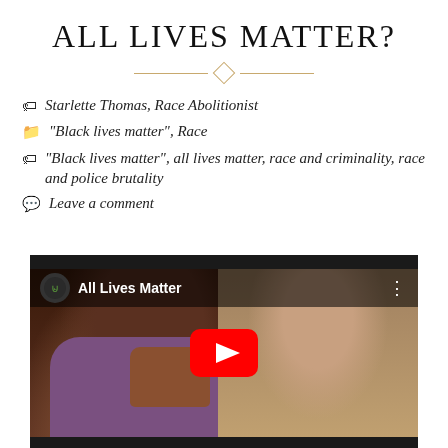ALL LIVES MATTER?
Starlette Thomas, Race Abolitionist
"Black lives matter", Race
"Black lives matter", all lives matter, race and criminality, race and police brutality
Leave a comment
[Figure (screenshot): YouTube video embed titled 'All Lives Matter' showing two young men in conversation in a restaurant setting, with a red YouTube play button overlay]